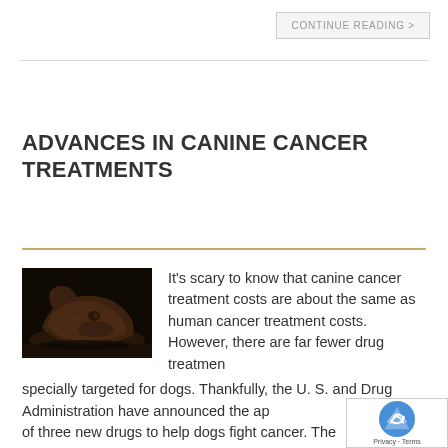CONTINUE READING >
ADVANCES IN CANINE CANCER TREATMENTS
[Figure (photo): Close-up silhouette of a dog's head resting in darkness, dark background with warm brownish tones on the dog's fur.]
It's scary to know that canine cancer treatment costs are about the same as human cancer treatment costs. However, there are far fewer drug treatments specially targeted for dogs. Thankfully, the U. S. and Drug Administration have announced the approval of three new drugs to help dogs fight cancer. The